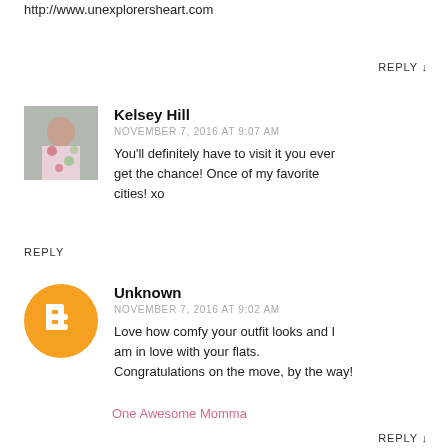http://www.unexplorersheart.com
REPLY ↓
Kelsey Hill
NOVEMBER 7, 2016 AT 9:07 AM
You'll definitely have to visit it you ever get the chance! Once of my favorite cities! xo
REPLY
Unknown
NOVEMBER 7, 2016 AT 9:02 AM
Love how comfy your outfit looks and I am in love with your flats. Congratulations on the move, by the way!
One Awesome Momma
REPLY ↓